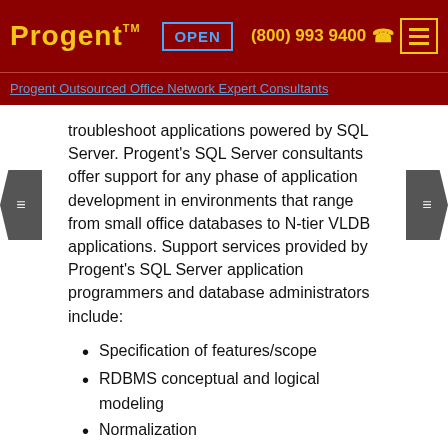Progent ™   OPEN   (800) 993 9400   ≡
Progent Outsourced Office Network Expert Consultants
troubleshoot applications powered by SQL Server. Progent's SQL Server consultants offer support for any phase of application development in environments that range from small office databases to N-tier VLDB applications. Support services provided by Progent's SQL Server application programmers and database administrators include:
Specification of features/scope
RDBMS conceptual and logical modeling
Normalization
Advanced T-SQL coding
Program configuration
Data migration
Capacity planning